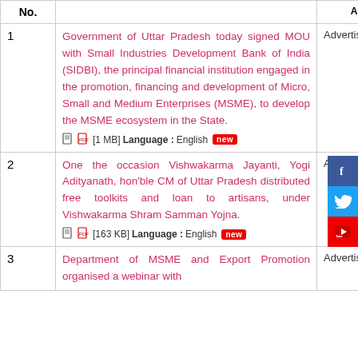| No. | Description | Advertisement |
| --- | --- | --- |
| 1 | Government of Uttar Pradesh today signed MOU with Small Industries Development Bank of India (SIDBI), the principal financial institution engaged in the promotion, financing and development of Micro, Small and Medium Enterprises (MSME), to develop the MSME ecosystem in the State. [1 MB] Language :English [new] | Advertisement |
| 2 | One the occasion Vishwakarma Jayanti, Yogi Adityanath, hon'ble CM of Uttar Pradesh distributed free toolkits and loan to artisans, under Vishwakarma Shram Samman Yojna. [163 KB] Language :English [new] | Advertisement |
| 3 | Department of MSME and Export Promotion organised a webinar with | Advertisement |